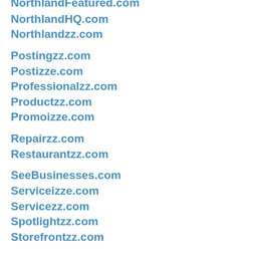NorthlandFeatured.com
NorthlandHQ.com
Northlandzz.com
Postingzz.com
Postizze.com
Professionalzz.com
Productzz.com
Promoizze.com
Repairzz.com
Restaurantzz.com
SeeBusinesses.com
Serviceizze.com
Servicezz.com
Spotlightzz.com
Storefrontzz.com